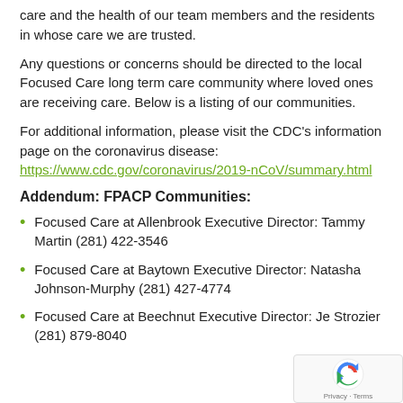care and the health of our team members and the residents in whose care we are trusted.
Any questions or concerns should be directed to the local Focused Care long term care community where loved ones are receiving care. Below is a listing of our communities.
For additional information, please visit the CDC's information page on the coronavirus disease: https://www.cdc.gov/coronavirus/2019-nCoV/summary.html
Addendum: FPACP Communities:
Focused Care at Allenbrook Executive Director: Tammy Martin (281) 422-3546
Focused Care at Baytown Executive Director: Natasha Johnson-Murphy (281) 427-4774
Focused Care at Beechnut Executive Director: Je Strozier (281) 879-8040